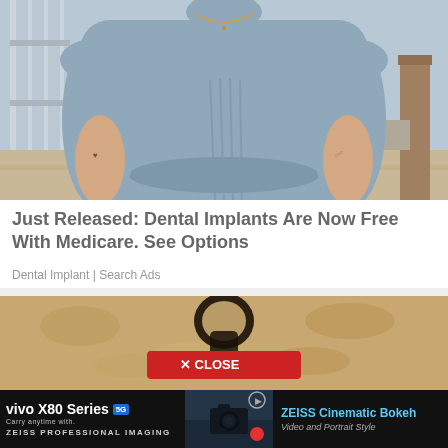[Figure (photo): Photo of a woman from neck to waist wearing a light blue/grey fitted short-sleeve top with ruching detail, standing outdoors on a sidewalk with a fence and tree visible in background]
Just Released: Dental Implants Are Now Free With Medicare. See Options
Dental Implant | Search Ads
[Figure (photo): Close-up photo of a sandy/textured wall with a dark circular ring/hook shape in the center; a red CLOSE button overlay is visible]
[Figure (screenshot): Bottom banner advertisement for vivo X80 Series 5G with ZEISS Professional Imaging and ZEISS Cinematic Bokeh, Video and Portrait Style. Shows a camera/photography image in the center.]